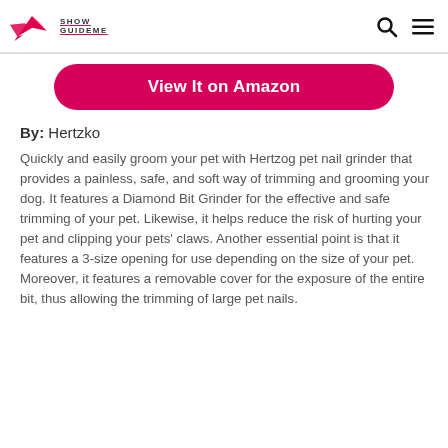Show GuideMe
View It on Amazon
By: Hertzko
Quickly and easily groom your pet with Hertzog pet nail grinder that provides a painless, safe, and soft way of trimming and grooming your dog. It features a Diamond Bit Grinder for the effective and safe trimming of your pet. Likewise, it helps reduce the risk of hurting your pet and clipping your pets' claws. Another essential point is that it features a 3-size opening for use depending on the size of your pet. Moreover, it features a removable cover for the exposure of the entire bit, thus allowing the trimming of large pet nails.